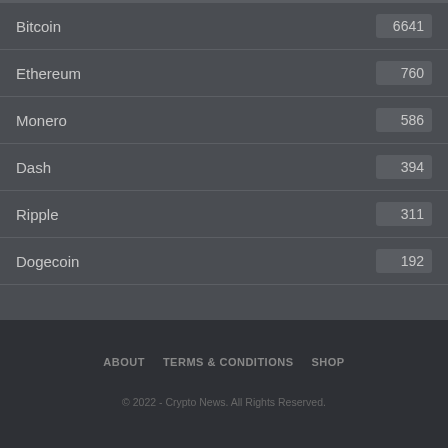Bitcoin 6641
Ethereum 760
Monero 586
Dash 394
Ripple 311
Dogecoin 192
ABOUT   TERMS & CONDITIONS   SHOP
© 2022 - Crypto News. All Rights Reserved.